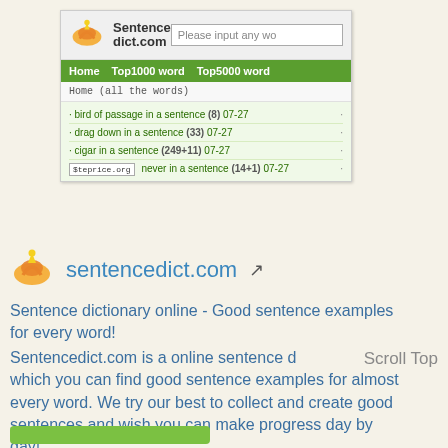[Figure (screenshot): Screenshot of sentencedict.com website showing header with logo, green navigation bar with Home, Top1000 word, Top5000 word links, breadcrumb Home (all the words), and a list of sentence entries including bird of passage in a sentence (8) 07-27, drag down in a sentence (33) 07-27, cigar in a sentence (249+11) 07-27, never in a sentence (14+1) 07-27]
sentencedict.com
Sentence dictionary online - Good sentence examples for every word! Sentencedict.com is a online sentence d which you can find good sentence examples for almost every word. We try our best to collect and create good sentences and wish you can make progress day by day!
Scroll Top
Moz DA: 28   Moz Rank: 4.2